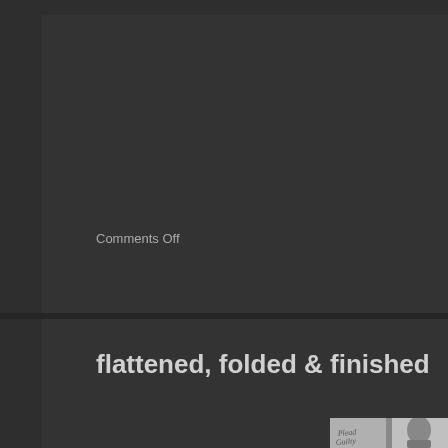Comments Off
flattened, folded & finished
[Figure (photo): Open book spread showing handwritten text 'Plead Guilty' on the left page and a black-and-white portrait photograph of a man's face on the right page.]